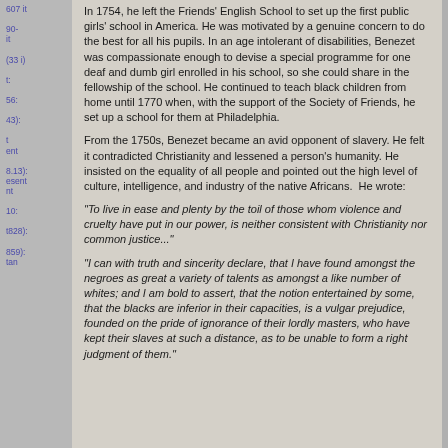In 1754, he left the Friends' English School to set up the first public girls' school in America. He was motivated by a genuine concern to do the best for all his pupils. In an age intolerant of disabilities, Benezet was compassionate enough to devise a special programme for one deaf and dumb girl enrolled in his school, so she could share in the fellowship of the school. He continued to teach black children from home until 1770 when, with the support of the Society of Friends, he set up a school for them at Philadelphia.
From the 1750s, Benezet became an avid opponent of slavery. He felt it contradicted Christianity and lessened a person's humanity. He insisted on the equality of all people and pointed out the high level of culture, intelligence, and industry of the native Africans. He wrote:
"To live in ease and plenty by the toil of those whom violence and cruelty have put in our power, is neither consistent with Christianity nor common justice..."
"I can with truth and sincerity declare, that I have found amongst the negroes as great a variety of talents as amongst a like number of whites; and I am bold to assert, that the notion entertained by some, that the blacks are inferior in their capacities, is a vulgar prejudice, founded on the pride of ignorance of their lordly masters, who have kept their slaves at such a distance, as to be unable to form a right judgment of them."